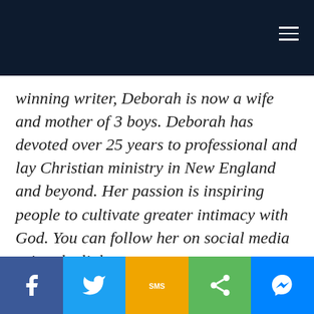winning writer, Deborah is now a wife and mother of 3 boys. Deborah has devoted over 25 years to professional and lay Christian ministry in New England and beyond. Her passion is inspiring people to cultivate greater intimacy with God. You can follow her on social media using the links